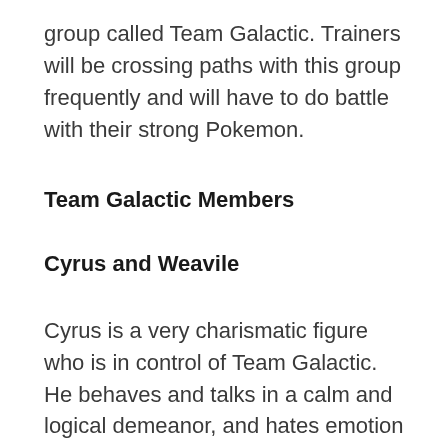group called Team Galactic. Trainers will be crossing paths with this group frequently and will have to do battle with their strong Pokemon.
Team Galactic Members
Cyrus and Weavile
Cyrus is a very charismatic figure who is in control of Team Galactic. He behaves and talks in a calm and logical demeanor, and hates emotion and the human mind. He finds them defective. He uses the Pokemon Weavile.